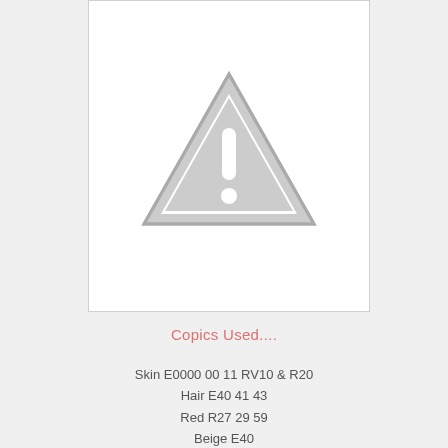[Figure (illustration): Warning/placeholder triangle icon with exclamation mark in gray on white background]
Copics Used....
Skin E0000 00 11 RV10 & R20
Hair E40 41 43
Red R27 29 59
Beige E40
Cream E50 51 53